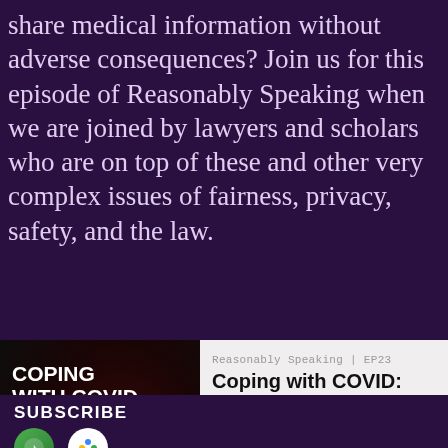share medical information without adverse consequences? Join us for this episode of Reasonably Speaking when we are joined by lawyers and scholars who are on top of these and other very complex issues of fairness, privacy, safety, and the law.
[Figure (screenshot): Podcast episode player showing 'Coping with COVID: Labor & Employment' artwork on left (dark background with COVID virus image and white bold text), and on right: label 'Reasonably Speaking | EP23', title 'Coping with COVID: When', play button, timestamp 00:00, waveform, and 1X speed button]
SUBSCRIBE
[Figure (screenshot): Two podcast platform subscription icons partially visible at bottom: Apple Podcasts (green icon) and Google Podcasts (colorful icon)]